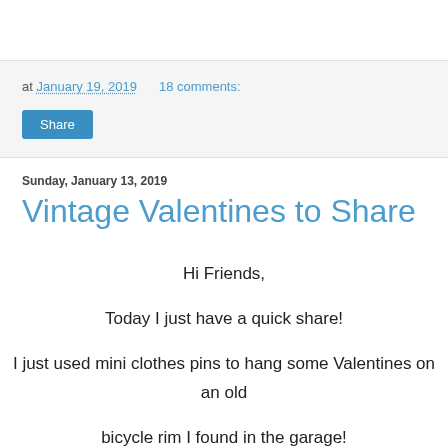at January 19, 2019    18 comments:
Share
Sunday, January 13, 2019
Vintage Valentines to Share
Hi Friends,

Today I just have a quick share!

I just used mini clothes pins to hang some Valentines on an old

bicycle rim I found in the garage!